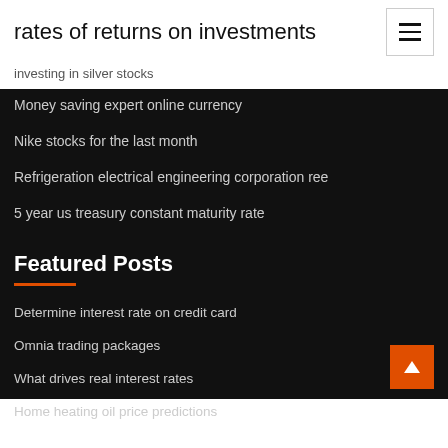rates of returns on investments
investing in silver stocks
Money saving expert online currency
Nike stocks for the last month
Refrigeration electrical engineering corporation ree
5 year us treasury constant maturity rate
Featured Posts
Determine interest rate on credit card
Omnia trading packages
What drives real interest rates
Home heating oil price predictions